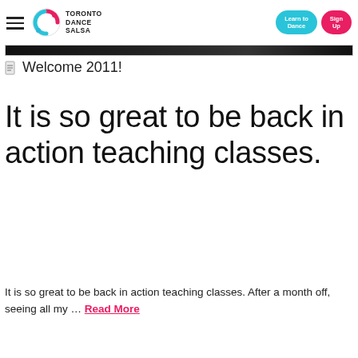Toronto Dance Salsa | Learn to Dance | Sign Up
[Figure (screenshot): Dark image strip / banner at top of content area]
Welcome 2011!
It is so great to be back in action teaching classes.
It is so great to be back in action teaching classes. After a month off, seeing all my … Read More